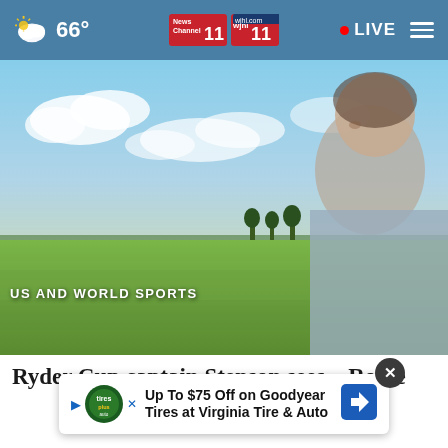66° | News Channel 11 WJHL 11 | LIVE
[Figure (photo): A man on a golf course with green fairway and partly cloudy sky in the background. Category label reads 'US AND WORLD SPORTS'.]
Ryder Cup captain Stenson sees...Rome
[Figure (infographic): Advertisement overlay: 'Up To $75 Off on Goodyear Tires at Virginia Tire & Auto' with Tires Plus Auto logo and navigation icon. Close button (x) in top right.]